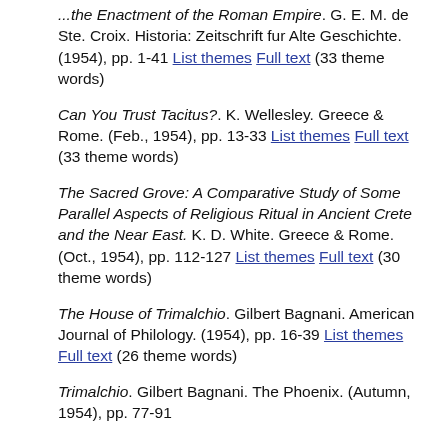... G. E. M. de Ste. Croix. Historia: Zeitschrift fur Alte Geschichte. (1954), pp. 1-41 List themes Full text (33 theme words)
Can You Trust Tacitus?. K. Wellesley. Greece & Rome. (Feb., 1954), pp. 13-33 List themes Full text (33 theme words)
The Sacred Grove: A Comparative Study of Some Parallel Aspects of Religious Ritual in Ancient Crete and the Near East. K. D. White. Greece & Rome. (Oct., 1954), pp. 112-127 List themes Full text (30 theme words)
The House of Trimalchio. Gilbert Bagnani. American Journal of Philology. (1954), pp. 16-39 List themes Full text (26 theme words)
Trimalchio. Gilbert Bagnani. The Phoenix. (Autumn, 1954), pp. 77-91